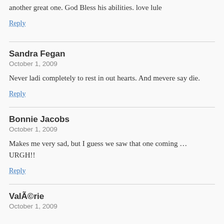another great one. God Bless his abilities. love lule
Reply
Sandra Fegan
October 1, 2009
Never ladi completely to rest in out hearts. And mevere say die.
Reply
Bonnie Jacobs
October 1, 2009
Makes me very sad, but I guess we saw that one coming … URGH!!
Reply
Valèrie
October 1, 2009